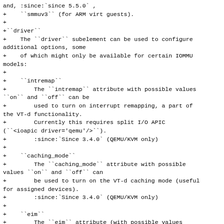and, :since:`since 5.5.0` ,
+    ``smmuv3`` (for ARM virt guests).
+
+``driver``
+    The ``driver`` subelement can be used to configure additional options, some
+    of which might only be available for certain IOMMU models:
+
+    ``intremap``
+        The ``intremap`` attribute with possible values ``on`` and ``off`` can be
+        used to turn on interrupt remapping, a part of the VT-d functionality.
+        Currently this requires split I/O APIC (``<ioapic driver='qemu'/>`` ).
+        :since:`Since 3.4.0` (QEMU/KVM only)
+
+    ``caching_mode``
+        The ``caching_mode`` attribute with possible values ``on`` and ``off`` can
+        be used to turn on the VT-d caching mode (useful for assigned devices).
+        :since:`Since 3.4.0` (QEMU/KVM only)
+
+    ``eim``
+        The ``eim`` attribute (with possible values ``on`` and ``off``) can be
+        used to configure Extended Interrupt Mode. A q35 domain with split I/O